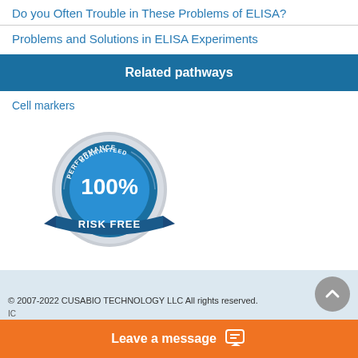Do you Often Trouble in These Problems of ELISA?
Problems and Solutions in ELISA Experiments
Related pathways
Cell markers
[Figure (illustration): 100% Performance Guaranteed Risk Free badge/seal in blue and silver with ribbon]
© 2007-2022 CUSABIO TECHNOLOGY LLC All rights reserved.
Leave a message